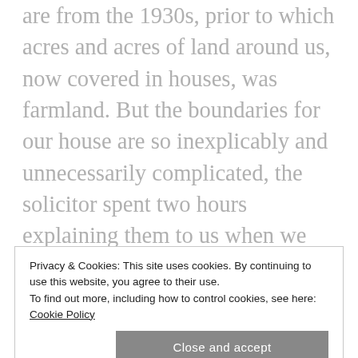are from the 1930s, prior to which acres and acres of land around us, now covered in houses, was farmland. But the boundaries for our house are so inexplicably and unnecessarily complicated, the solicitor spent two hours explaining them to us when we bought the house.
No one in their right mind would call me a natural, enthusiastic or good (or even adequate) gardener but there's something about doing battle with hidden roots, identifying what to keep and what to dig up, and nurturing the new things I've planted, that helps
Privacy & Cookies: This site uses cookies. By continuing to use this website, you agree to their use.
To find out more, including how to control cookies, see here: Cookie Policy
Close and accept
or vice versa. So I've been enjoying putting my back